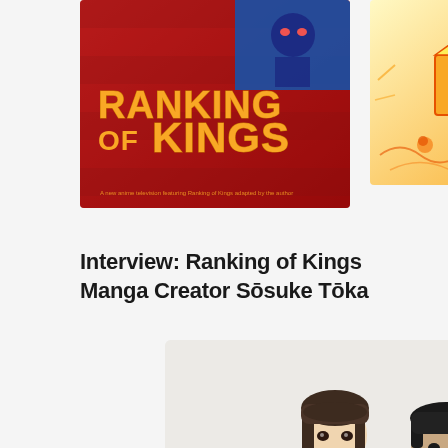[Figure (photo): Ranking of Kings anime/manga cover art with red background and yellow text saying RANKING OF KINGS]
[Figure (photo): Yellow illustrated image with boxes and small figures, likely manga or anime art]
Interview: Ranking of Kings Manga Creator Sōsuke Tōka
[Figure (photo): Photo of two people, a young woman and a man, against a light background — likely the manga creator Sōsuke Tōka and an interviewer]